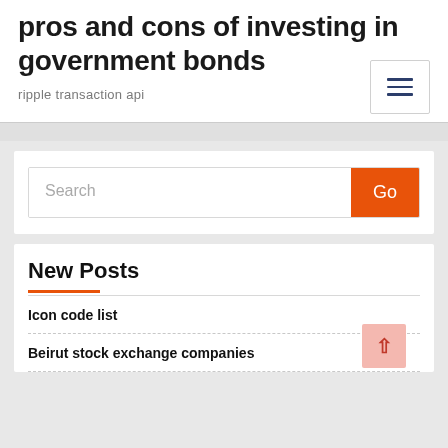pros and cons of investing in government bonds
ripple transaction api
New Posts
Icon code list
Beirut stock exchange companies